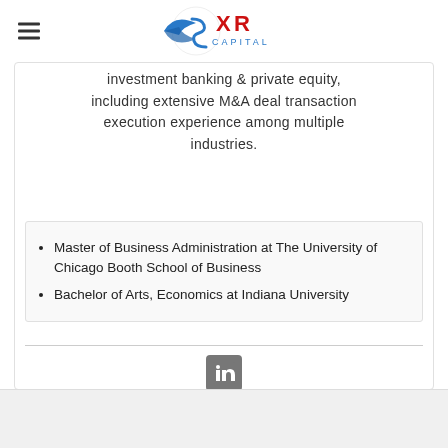[Figure (logo): XR Capital logo with stylized wing and 'XR CAPITAL' text in blue and red]
investment banking & private equity, including extensive M&A deal transaction execution experience among multiple industries.
Master of Business Administration at The University of Chicago Booth School of Business
Bachelor of Arts, Economics at Indiana University
[Figure (logo): LinkedIn icon in grey square]